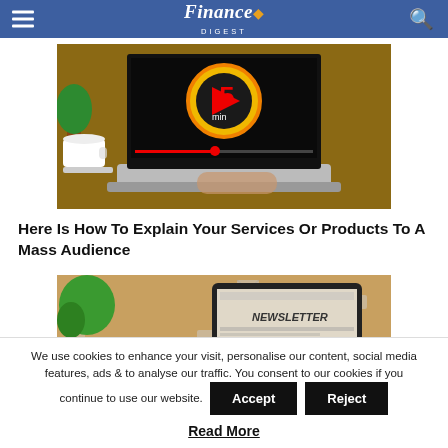Finance Digest
[Figure (photo): Laptop showing a 5-minute video timer screen, with a person's hands typing, a coffee cup and plant in background]
Here Is How To Explain Your Services Or Products To A Mass Audience
[Figure (photo): Tablet showing a newsletter on a wooden desk with email icons and a green plant]
We use cookies to enhance your visit, personalise our content, social media features, ads & to analyse our traffic. You consent to our cookies if you continue to use our website.
Read More